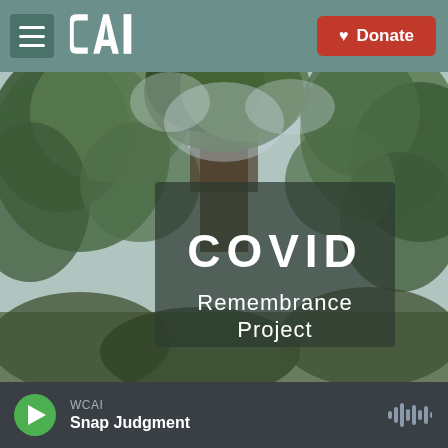CAI | Donate
[Figure (photo): Outdoor scene with trees and foliage in background; a semi-transparent dark overlay rectangle in the center displays text: COVID Remembrance Project]
COVID Remembrance Project
WCAI Snap Judgment